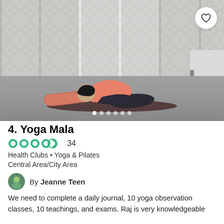[Figure (photo): Person in child's pose yoga position on a dark mat in a studio with white patterned curtains in the background]
4. Yoga Mala
34 (rating: 4.5 stars)
Health Clubs • Yoga & Pilates
Central Area/City Area
By Jeanne Teen
We need to complete a daily journal, 10 yoga observation classes, 10 teachings, and exams. Raj is very knowledgeable